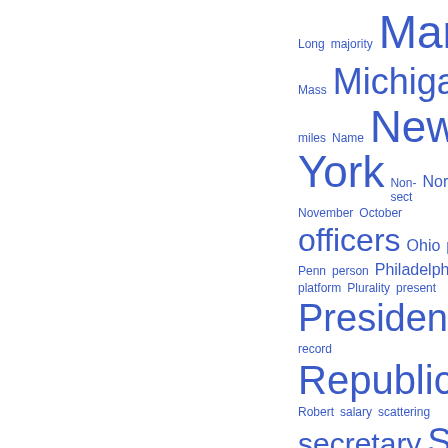[Figure (other): Word cloud of political and governmental terms in blue, varying in font size to indicate frequency. Terms include: Long, majority, March, Mass, Michigan, miles, Name, New-York, Non-sect, North, November, October, officers, Ohio, party, Penn, person, Philadelphia, platform, Plurality, present, President, protection, record, Republican, rises, Robert, salary, scattering, secretary, Senate, Sept, September, sets, Silver, Smith, South, speed, Term, Territory, third, Thomas, tion, treasurer, United (partial)]